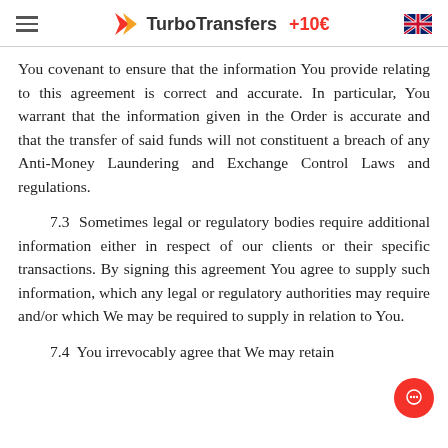TurboTransfers +10€
You covenant to ensure that the information You provide relating to this agreement is correct and accurate. In particular, You warrant that the information given in the Order is accurate and that the transfer of said funds will not constituent a breach of any Anti-Money Laundering and Exchange Control Laws and regulations.
7.3 Sometimes legal or regulatory bodies require additional information either in respect of our clients or their specific transactions. By signing this agreement You agree to supply such information, which any legal or regulatory authorities may require and/or which We may be required to supply in relation to You.
7.4 You irrevocably agree that We may retain